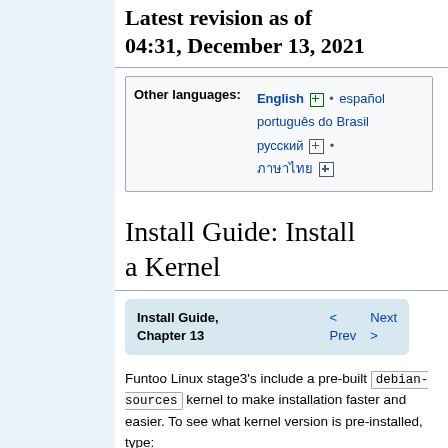Latest revision as of 04:31, December 13, 2021
| Other languages: |  |
| --- | --- |
|  | English ⊞ • español • português do Brasil • русский ⊞ • ภาษาไทย ⊞ |
Install Guide: Install a Kernel
| Install Guide, Chapter 13 | < Prev | Next > |
| --- | --- | --- |
Funtoo Linux stage3's include a pre-built debian-sources kernel to make installation faster and easier. To see what kernel version is pre-installed, type: